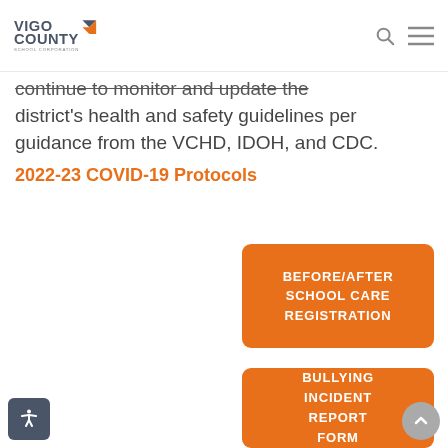Vigo County School Corporation
continue to monitor and update the district's health and safety guidelines per guidance from the VCHD, IDOH, and CDC.
2022-23 COVID-19 Protocols
[Figure (other): Orange button: BEFORE/AFTER SCHOOL CARE REGISTRATION]
[Figure (other): Orange button: BULLYING INCIDENT REPORT FORM]